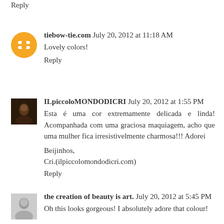Reply
tiebow-tie.com  July 20, 2012 at 11:18 AM
Lovely colors!
Reply
ILpiccoloMONDODICRI  July 20, 2012 at 1:55 PM
Esta é uma cor extremamente delicada e linda! Acompanhada com uma graciosa maquiagem, acho que uma mulher fica irresistivelmente charmosa!!! Adorei

Bejinhos,
Cri.(ilpiccolomondodicri.com)
Reply
the creation of beauty is art.  July 20, 2012 at 5:45 PM
Oh this looks gorgeous! I absolutely adore that colour!